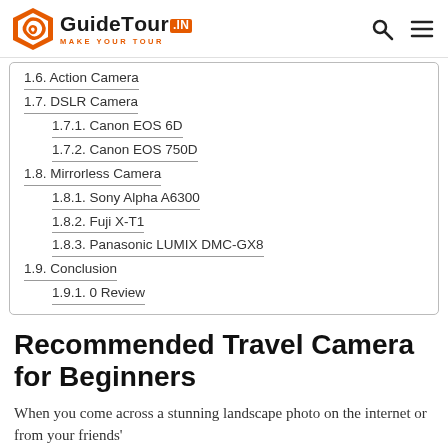GuideTour.IN - MAKE YOUR TOUR
1.6. Action Camera
1.7. DSLR Camera
1.7.1. Canon EOS 6D
1.7.2. Canon EOS 750D
1.8. Mirrorless Camera
1.8.1. Sony Alpha A6300
1.8.2. Fuji X-T1
1.8.3. Panasonic LUMIX DMC-GX8
1.9. Conclusion
1.9.1. 0 Review
Recommended Travel Camera for Beginners
When you come across a stunning landscape photo on the internet or from your friends'